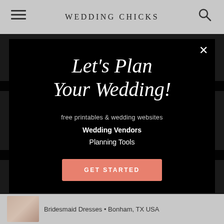WEDDING CHICKS
[Figure (screenshot): Wedding Chicks website screenshot with modal dialog overlay. Modal has black background with italic serif headline 'Let's Plan Your Wedding!', subtext 'free printables & wedding websites', bold link 'Wedding Vendors', normal link 'Planning Tools', and a salmon pink 'GET STARTED' button. Background shows grey website with hamburger menu and search icon.]
Let's Plan Your Wedding!
free printables & wedding websites
Wedding Vendors
Planning Tools
GET STARTED
Bridesmaid Dresses • Bonham, TX USA